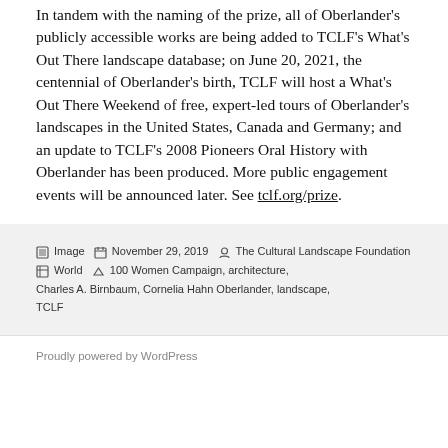In tandem with the naming of the prize, all of Oberlander's publicly accessible works are being added to TCLF's What's Out There landscape database; on June 20, 2021, the centennial of Oberlander's birth, TCLF will host a What's Out There Weekend of free, expert-led tours of Oberlander's landscapes in the United States, Canada and Germany; and an update to TCLF's 2008 Pioneers Oral History with Oberlander has been produced. More public engagement events will be announced later. See tclf.org/prize.
Image  November 29, 2019  The Cultural Landscape Foundation  World  100 Women Campaign, architecture, Charles A. Birnbaum, Cornelia Hahn Oberlander, landscape, TCLF
Proudly powered by WordPress